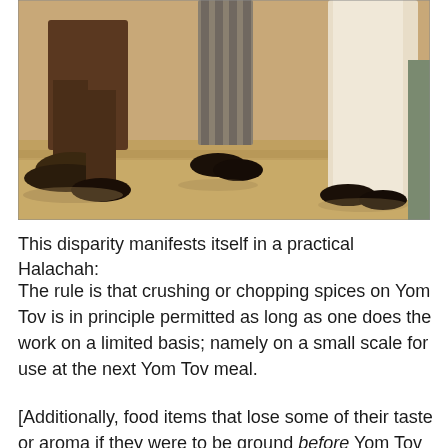[Figure (photo): Sepia-toned photograph showing legs and feet of several people standing on sandy/gravelly ground, wearing various shoes and clothing including brown trousers and a white garment]
This disparity manifests itself in a practical Halachah:
The rule is that crushing or chopping spices on Yom Tov is in principle permitted as long as one does the work on a limited basis; namely on a small scale for use at the next Yom Tov meal.
[Additionally, food items that lose some of their taste or aroma if they were to be ground before Yom Tov would also be